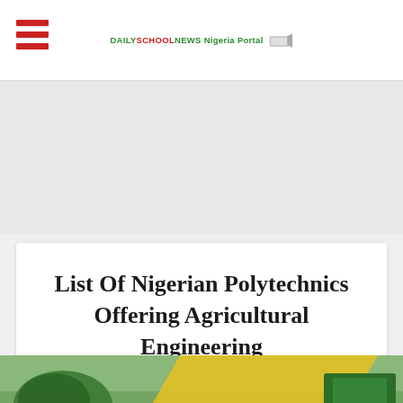DAILYSCHOOLNEWS Nigeria Portal
[Figure (other): Gray advertisement banner area]
List Of Nigerian Polytechnics Offering Agricultural Engineering
[Figure (illustration): Agricultural engineering illustration showing green farm machinery and tractor on a field with yellow diagonal element]